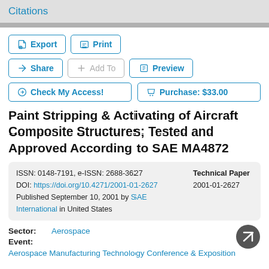Citations
[Figure (screenshot): Action buttons: Export, Print, Share, Add To, Preview, Check My Access!, Purchase: $33.00]
Paint Stripping & Activating of Aircraft Composite Structures; Tested and Approved According to SAE MA4872
ISSN: 0148-7191, e-ISSN: 2688-3627
DOI: https://doi.org/10.4271/2001-01-2627
Published September 10, 2001 by SAE International in United States
Technical Paper
2001-01-2627
Sector: Aerospace
Event:
Aerospace Manufacturing Technology Conference & Exposition